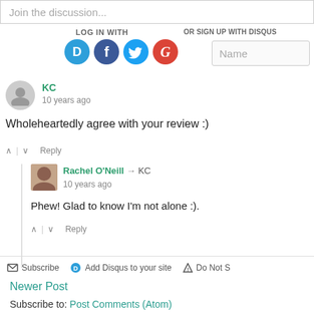Join the discussion...
LOG IN WITH
OR SIGN UP WITH DISQUS
[Figure (screenshot): Social login icons: Disqus (blue speech bubble with D), Facebook (dark blue circle with f), Twitter (cyan circle with bird), Google (red circle with G)]
Name
KC
10 years ago
Wholeheartedly agree with your review :)
^ | v  Reply
Rachel O'Neill → KC
10 years ago
Phew! Glad to know I'm not alone :).
^ | v  Reply
Subscribe  Add Disqus to your site  Do Not S
Newer Post
Subscribe to: Post Comments (Atom)